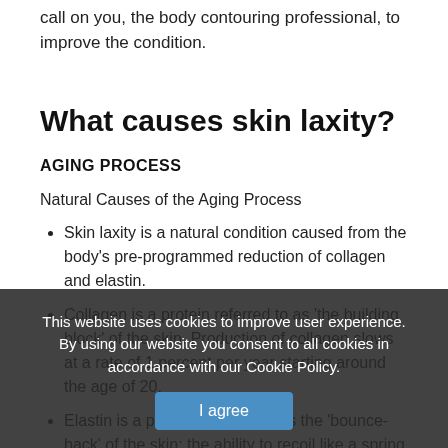call on you, the body contouring professional, to improve the condition.
What causes skin laxity?
AGING PROCESS
Natural Causes of the Aging Process
Skin laxity is a natural condition caused from the body's pre-programmed reduction of collagen and elastin.
Collagen is a protein referred to as 'the building block' of the skin. Production of collagen slows at a rate of 1 percent per year starting around the age of 20.
Elastin is a protein that produces the 'bounce-back' of the skin; the ability to recoil like a spring after the skin is stretched. We age elastin as we age.
The declining production of these two proteins results in loose, sagging skin...
This website uses cookies to improve user experience. By using our website you consent to all cookies in accordance with our Cookie Policy.